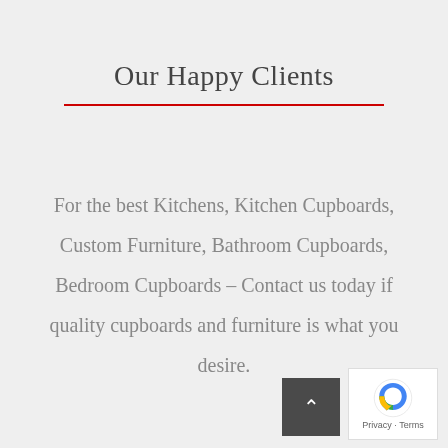Our Happy Clients
For the best Kitchens, Kitchen Cupboards, Custom Furniture, Bathroom Cupboards, Bedroom Cupboards – Contact us today if quality cupboards and furniture is what you desire.